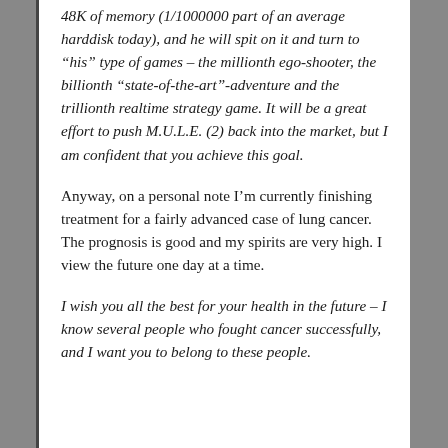48K of memory (1/1000000 part of an average harddisk today), and he will spit on it and turn to “his” type of games – the millionth ego-shooter, the billionth “state-of-the-art”-adventure and the trillionth realtime strategy game. It will be a great effort to push M.U.L.E. (2) back into the market, but I am confident that you achieve this goal.
Anyway, on a personal note I’m currently finishing treatment for a fairly advanced case of lung cancer. The prognosis is good and my spirits are very high. I view the future one day at a time.
I wish you all the best for your health in the future – I know several people who fought cancer successfully, and I want you to belong to these people.